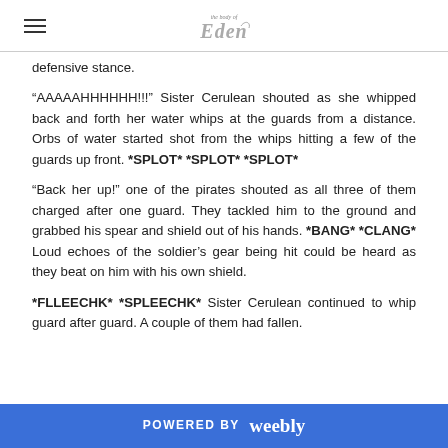the body of Eden [logo]
defensive stance.
“AAAAAAAAHHHHH!!!” Sister Cerulean shouted as she whipped back and forth her water whips at the guards from a distance. Orbs of water started shot from the whips hitting a few of the guards up front. *SPLOT* *SPLOT* *SPLOT*
“Back her up!” one of the pirates shouted as all three of them charged after one guard. They tackled him to the ground and grabbed his spear and shield out of his hands. *BANG* *CLANG* Loud echoes of the soldier’s gear being hit could be heard as they beat on him with his own shield.
*FLLEECHK* *SPLEECHK* Sister Cerulean continued to whip guard after guard. A couple of them had fallen.
POWERED BY weebly